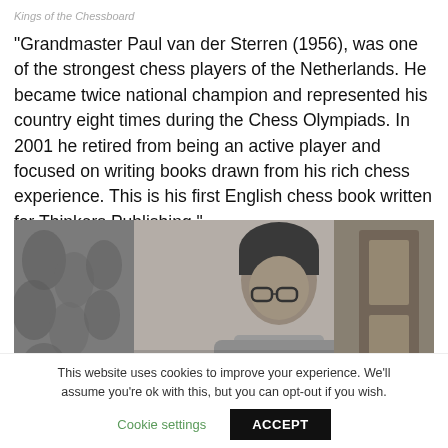Kings of the Chessboard
"Grandmaster Paul van der Sterren (1956), was one of the strongest chess players of the Netherlands. He became twice national champion and represented his country eight times during the Chess Olympiads. In 2001 he retired from being an active player and focused on writing books drawn from his rich chess experience. This is his first English chess book written for Thinkers Publishing."
[Figure (photo): Black and white photograph of a young man with glasses, looking downward, seated, with patterned curtains visible in the background.]
This website uses cookies to improve your experience. We'll assume you're ok with this, but you can opt-out if you wish.
Cookie settings   ACCEPT